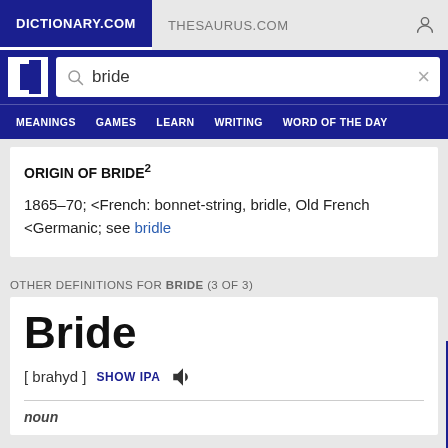DICTIONARY.COM | THESAURUS.COM
ORIGIN OF BRIDE²
1865–70; <French: bonnet-string, bridle, Old French <Germanic; see bridle
OTHER DEFINITIONS FOR BRIDE (3 OF 3)
Bride
[ brahyd ]  SHOW IPA
noun